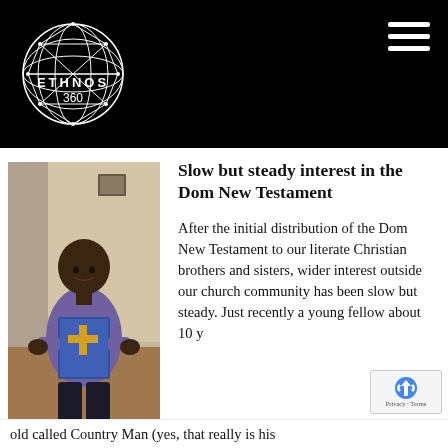ETHNOS 360
[Figure (photo): Young man smiling, holding the Dom New Testament book with a cross on the cover, wearing a purple t-shirt, standing indoors.]
Slow but steady interest in the Dom New Testament
After the initial distribution of the Dom New Testament to our literate Christian brothers and sisters, wider interest outside our church community has been slow but steady. Just recently a young fellow about 10 y
old called Country Man (yes, that really is his